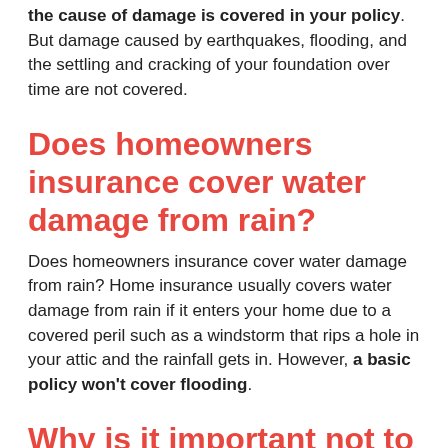the cause of damage is covered in your policy. But damage caused by earthquakes, flooding, and the settling and cracking of your foundation over time are not covered.
Does homeowners insurance cover water damage from rain?
Does homeowners insurance cover water damage from rain? Home insurance usually covers water damage from rain if it enters your home due to a covered peril such as a windstorm that rips a hole in your attic and the rainfall gets in. However, a basic policy won't cover flooding.
Why is it important not to over insure your property?
Why Should Over-Insurance Be Avoided? No